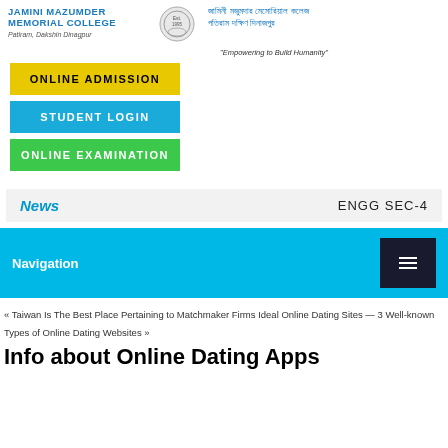JAMINI MAZUMDER MEMORIAL COLLEGE
Patiram, Dakshin Dinagpur
[Logo]
জামিনী মজুমদার মেমোরিয়াল কলেজ
পতিরাম দক্ষিণ দিনাজপুর
"Empowering to Build Humanity"
ONLINE ADMISSION
STUDENT LOGIN
ONLINE EXAMINATION
News
ENGG SEC-4
Navigation
« Taiwan Is The Best Place Pertaining to Matchmaker Firms
Ideal Online Dating Sites — 3 Well-known Types of Online Dating Websites »
Info about Online Dating Apps